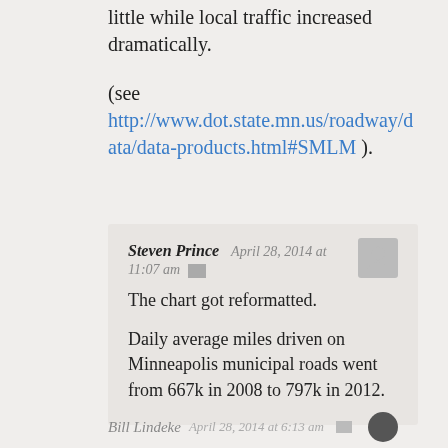little while local traffic increased dramatically.
(see http://www.dot.state.mn.us/roadway/data/data-products.html#SMLM ).
Steven Prince   April 28, 2014 at 11:07 am
The chart got reformatted.
Daily average miles driven on Minneapolis municipal roads went from 667k in 2008 to 797k in 2012.
Bill Lindeke   April 28, 2014 at 6:13 am